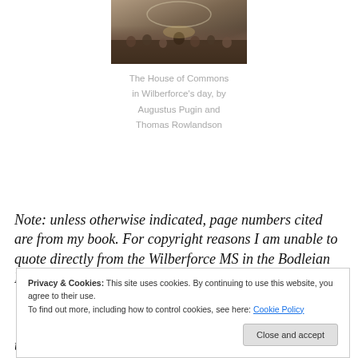[Figure (photo): Historical painting of the House of Commons in Wilberforce's day, showing a crowded parliamentary chamber with figures gathered around a central table.]
The House of Commons in Wilberforce's day, by Augustus Pugin and Thomas Rowlandson
Note: unless otherwise indicated, page numbers cited are from my book. For copyright reasons I am unable to quote directly from the Wilberforce MS in the Bodleian Library.
Privacy & Cookies: This site uses cookies. By continuing to use this website, you agree to their use.
To find out more, including how to control cookies, see here: Cookie Policy
the slave trade and slavery for his party. This is repeated